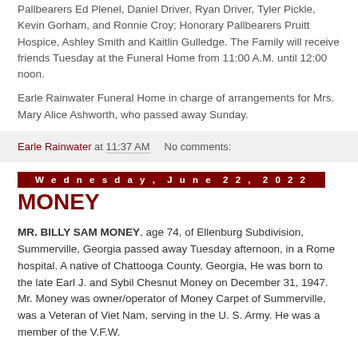Pallbearers Ed Plenel, Daniel Driver, Ryan Driver, Tyler Pickle, Kevin Gorham, and Ronnie Croy; Honorary Pallbearers Pruitt Hospice, Ashley Smith and Kaitlin Gulledge. The Family will receive friends Tuesday at the Funeral Home from 11:00 A.M. until 12:00 noon.
Earle Rainwater Funeral Home in charge of arrangements for Mrs. Mary Alice Ashworth, who passed away Sunday.
Earle Rainwater at 11:37 AM   No comments:
Wednesday, June 22, 2022
MONEY
MR. BILLY SAM MONEY, age 74, of Ellenburg Subdivision, Summerville, Georgia passed away Tuesday afternoon, in a Rome hospital. A native of Chattooga County, Georgia, He was born to the late Earl J. and Sybil Chesnut Money on December 31, 1947. Mr. Money was owner/operator of Money Carpet of Summerville, was a Veteran of Viet Nam, serving in the U. S. Army. He was a member of the V.F.W.